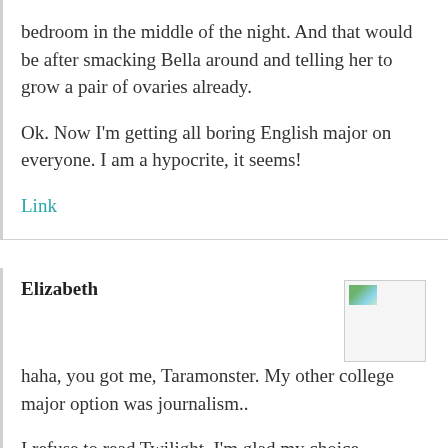bedroom in the middle of the night. And that would be after smacking Bella around and telling her to grow a pair of ovaries already.
Ok. Now I'm getting all boring English major on everyone. I am a hypocrite, it seems!
Link
Elizabeth
haha, you got me, Taramonster. My other college major option was journalism..
I refuse to read Twilight. I'm glad my choice was correct.
Definitely agree with the feeling that